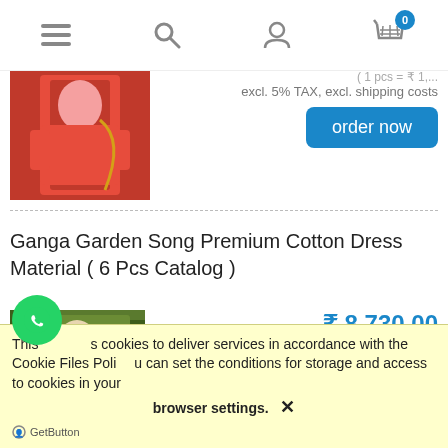Navigation bar with menu, search, user, and cart (0) icons
excl. 5% TAX, excl. shipping costs
[Figure (photo): Red salwar kameez outfit on a model]
order now
Ganga Garden Song Premium Cotton Dress Material ( 6 Pcs Catalog )
[Figure (photo): Woman in green/olive dress material outdoors]
₹ 8,730.00
( 1 pcs = ₹ 1,455.00 )
excl. 5% TAX, excl. shipping costs
This site uses cookies to deliver services in accordance with the Cookie Files Policy. You can set the conditions for storage and access to cookies in your browser settings. ✕